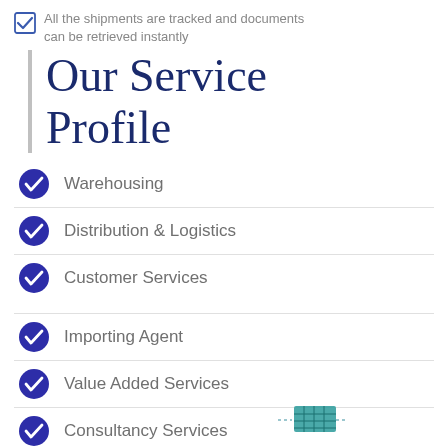All the shipments are tracked and documents can be retrieved instantly
Our Service Profile
Warehousing
Distribution & Logistics
Customer Services
Importing Agent
Value Added Services
Consultancy Services
[Figure (illustration): Small decorative image of a teal/green crate or pallet at the bottom of the page]